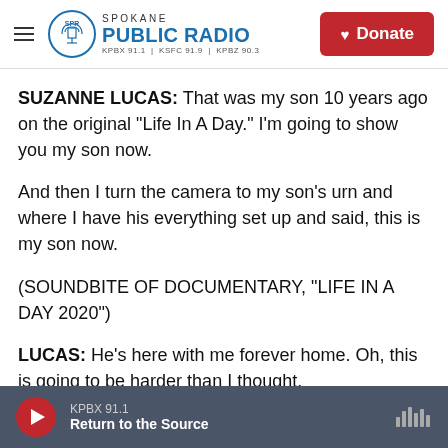Spokane Public Radio — KPBX 91.1 | KSFC 91.9 | KPBZ 90.3 — Donate
SUZANNE LUCAS: That was my son 10 years ago on the original "Life In A Day." I'm going to show you my son now.
And then I turn the camera to my son's urn and where I have his everything set up and said, this is my son now.
(SOUNDBITE OF DOCUMENTARY, "LIFE IN A DAY 2020")
LUCAS: He's here with me forever home. Oh, this is going to be harder than I thought.
KPBX 91.1 — Return to the Source